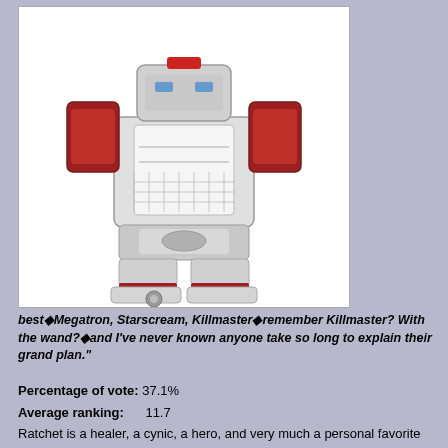[Figure (illustration): Illustration of a Transformers robot character (Ratchet) in grey, white and red/dark red colors, shown from roughly waist-down to head, in a standing pose with detailed mechanical parts.]
best◆Megatron, Starscream, Killmaster◆remember Killmaster? With the wand?◆and I've never known anyone take so long to explain their grand plan."
Percentage of vote: 37.1%
Average ranking:      11.7
Ratchet is a healer, a cynic, a hero, and very much a personal favorite